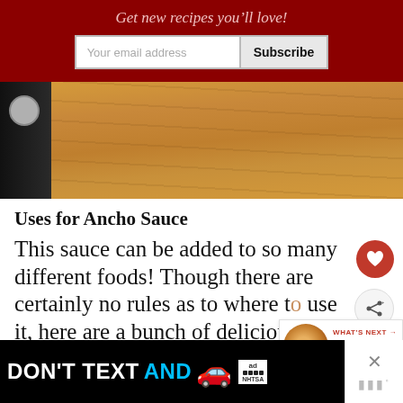Get new recipes you'll love!
[Figure (photo): Wooden cutting board surface with dark knife handle visible in top-left corner]
Uses for Ancho Sauce
This sauce can be added to so many different foods! Though there are certainly no rules as to where to use it, here are a bunch of delicious ideas.
[Figure (other): What's Next widget showing Ancho Chile Potatoes with thumbnail image]
[Figure (other): Advertisement banner: DON'T TEXT AND [drive] with red car illustration and NHTSA logo]